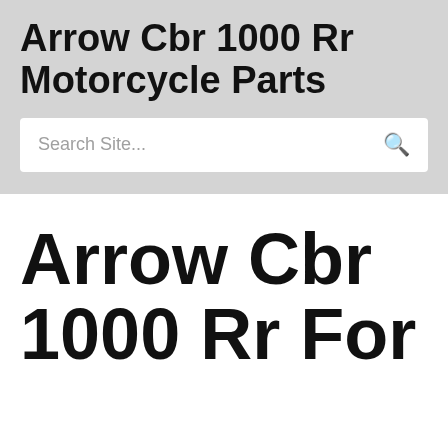Arrow Cbr 1000 Rr Motorcycle Parts
Search Site...
Arrow Cbr 1000 Rr For